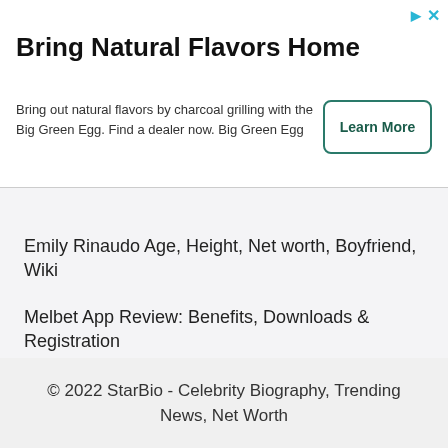[Figure (other): Advertisement banner for Big Green Egg with title 'Bring Natural Flavors Home', body text, and a 'Learn More' button]
Emily Rinaudo Age, Height, Net worth, Boyfriend, Wiki
Melbet App Review: Benefits, Downloads & Registration
© 2022 StarBio - Celebrity Biography, Trending News, Net Worth